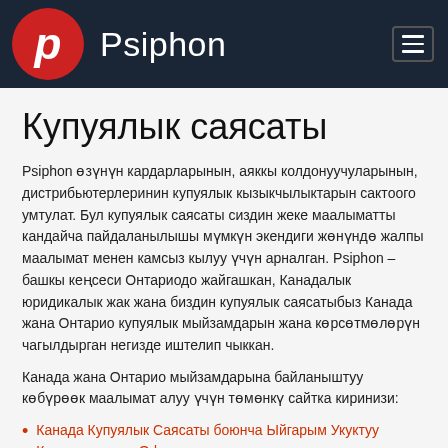Psiphon
Купуялык саясаты
Psiphon өзүнүн кардарларынын, аяккы колдонуучуларынын, дистрибьютерлеринин купуялык кызыкчылыктарын сактоого умтулат. Бул купуялык саясаты сиздин жеке маалыматты кандайча пайдаланылышы мүмкүн экендиги жөнүндө жалпы маалымат менен камсыз кылуу үчүн арналган. Psiphon – башкы кеңсеси Онтариодо жайгашкан, Канадалык юридикалык жак жана биздин купуялык саясатыбыз Канада жана Онтарио купуялык мыйзамдарын жана көрсөтмөлөрүн чагылдырган негизде иштелип чыккан.
Канада жана Онтарио мыйзамдарына байланыштуу көбүрөөк маалымат алуу үчүн төмөнкү сайтка киринизи:
Канада Купуялык Саясаты боюнча Ыйгарым Укуктуу Комиссарынын Офиси